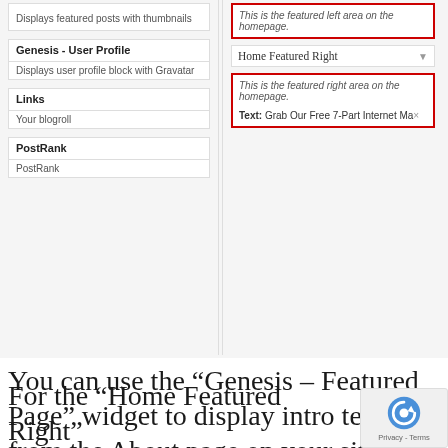[Figure (screenshot): WordPress widget admin panel showing left column with Genesis User Profile, Links, PostRank widgets and right column with Home Featured Right sidebar showing red-outlined text boxes]
You can use the “Genesis – Featured Page” widget to display intro text from the About page on your site or you can use a simple “text” widget to tell visitors what your site is about.
For the “Home Featured Right”